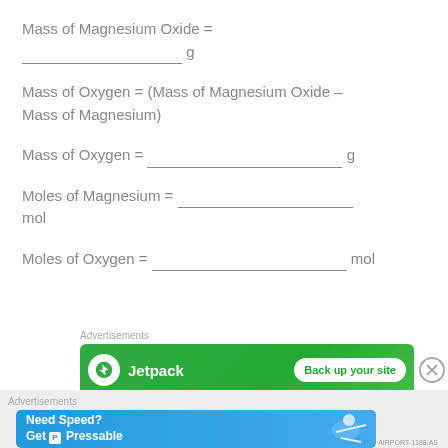[Figure (other): Jetpack advertisement banner: green background with Jetpack logo and 'Back up your site' button]
[Figure (other): Pressable advertisement banner: blue background with 'Need Speed? Get Pressable' text and running figure]